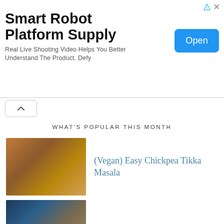[Figure (screenshot): Advertisement banner for Smart Robot Platform Supply with Open button]
Smart Robot Platform Supply
Real Live Shooting Video Helps You Better Understand The Product. Defy
WHAT'S POPULAR THIS MONTH
(Vegan) Easy Chickpea Tikka Masala
The Best Eggplant Patties
Easy Creamy Crock-Pot Chicken Tikka Masala